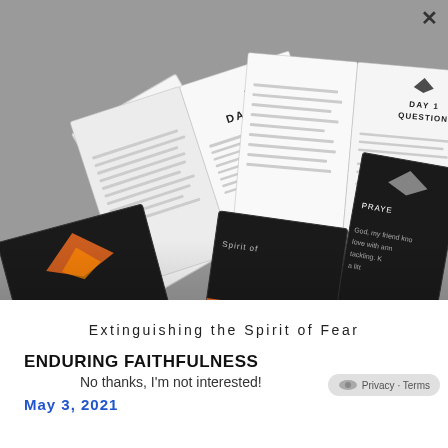[Figure (photo): Photo of multiple copies of a book titled 'Extinguishing the Spirit of Fear' arranged on a gray surface. The books show interior pages with 'DAY 1', 'DAY 1 QUESTIONS', and 'PRAYER' sections, as well as dark covers with orange bird/flame graphics.]
Extinguishing the Spirit of Fear
ENDURING FAITHFULNESS
No thanks, I'm not interested!
May 3, 2021